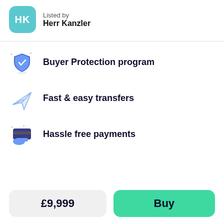[Figure (illustration): Teal rounded square avatar with white text 'HK']
Listed by
Herr Kanzler
Buyer Protection program
Fast & easy transfers
Hassle free payments
£9,999
Buy